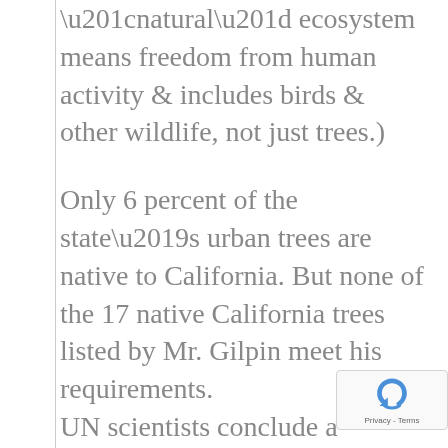“natural” ecosystem means freedom from human activity & includes birds & other wildlife, not just trees.)
Only 6 percent of the state’s urban trees are native to California. But none of the 17 native California trees listed by Mr. Gilpin meet his requirements.
UN scientists conclude a plant’s origins are key.
Urban Californians can & must stick with the California native